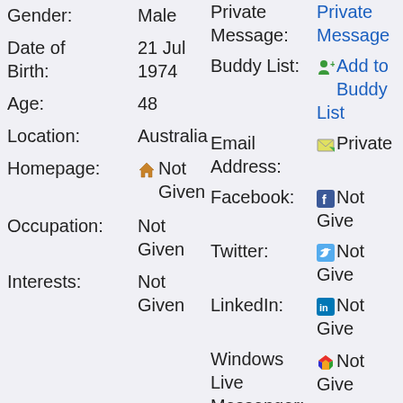Gender: Male
Date of Birth: 21 Jul 1974
Age: 48
Location: Australia
Homepage: 🏠 Not Given
Occupation: Not Given
Interests: Not Given
Private Message: Private Message
Buddy List: 🧑 Add to Buddy List
Email Address: 📧 Private
Facebook: Not Given
Twitter: Not Given
LinkedIn: Not Given
Windows Live Messenger: Not Given
Skype Name: Not Given
Yahoo Messenger: Not Given